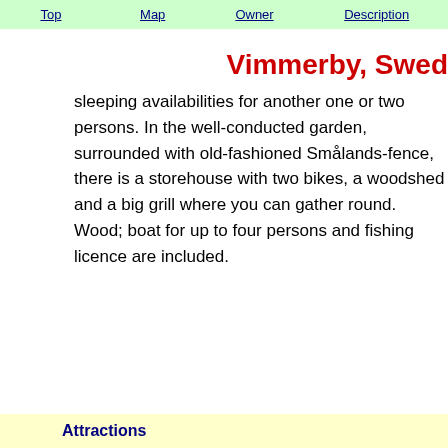Top | Map | Owner | Description
Vimmerby, Swed
sleeping availabilities for another one or two persons. In the well-conducted garden, surrounded with old-fashioned Smålands-fence, there is a storehouse with two bikes, a woodshed and a big grill where you can gather round. Wood; boat for up to four persons and fishing licence are included.
Attractions